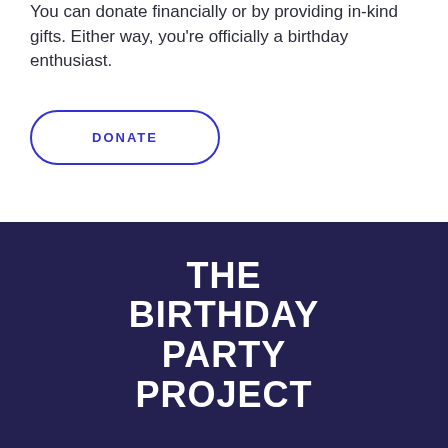You can donate financially or by providing in-kind gifts. Either way, you’re officially a birthday enthusiast.
[Figure (other): DONATE button with blue rounded rectangle border]
THE BIRTHDAY PARTY PROJECT